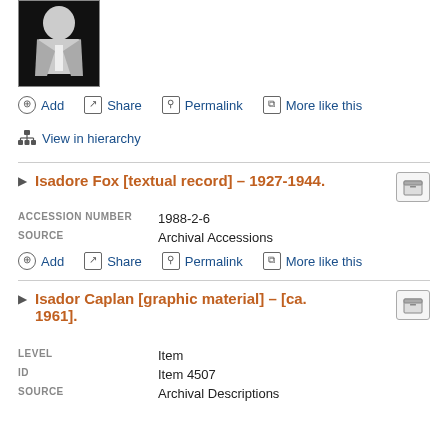[Figure (photo): Black and white portrait photo of a man in a suit and tie]
Add
Share
Permalink
More like this
View in hierarchy
Isadore Fox [textual record] – 1927-1944.
| ACCESSION NUMBER | 1988-2-6 |
| --- | --- |
| SOURCE | Archival Accessions |
Add
Share
Permalink
More like this
Isador Caplan [graphic material] – [ca. 1961].
| LEVEL | Item |
| --- | --- |
| ID | Item 4507 |
| SOURCE | Archival Descriptions |